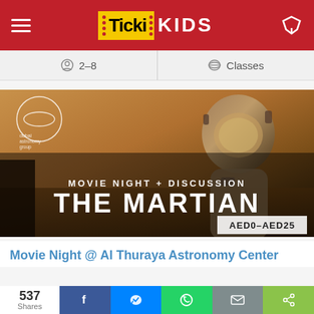Ticki KIDS
2–8   Classes
[Figure (photo): Movie Night + Discussion: The Martian event banner with astronaut in space suit on Mars background. Dubai Astronomy Group logo in top left. Price badge shows AED0-AED25.]
Movie Night @ Al Thuraya Astronomy Center
537 Shares